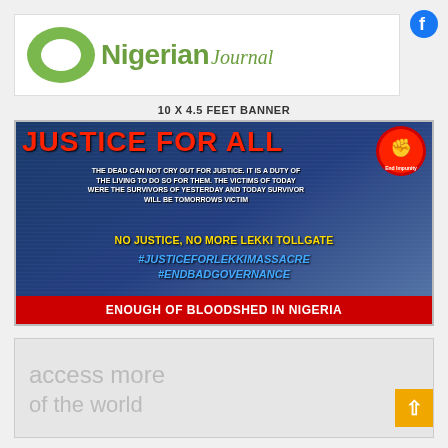[Figure (logo): Nigerian Journal logo with green oval and text]
10 X 4.5 FEET BANNER
[Figure (infographic): Justice For All protest banner. Text: JUSTICE FOR ALL. THE DEAD CAN NOT CRY OUT FOR JUSTICE. IT IS A DUTY OF THE LIVING TO DO SO FOR THEM. THE VICTIMS OF TODAY WERE THE SURVIVORS OF YESTERDAY AND TODAY SURVIVOR WILL BE TOMORROWS VICTIM. NO JUSTICE, NO MORE LEKKI TOLLGATE. #JUSTICEFORLEKKIMASSACRE. #ENDBADGOVERNANCE. ENOUGH OF BLOODSHED IN NIGERIA.]
[Figure (illustration): Partial ad banner at bottom showing 'access more of the world' text]